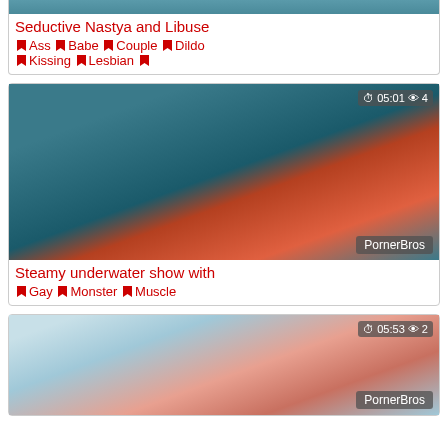[Figure (screenshot): Partial video thumbnail at top, cropped]
Seductive Nastya and Libuse
♦ Ass ♦ Babe ♦ Couple ♦ Dildo ♦ Kissing ♦ Lesbian ♦
[Figure (screenshot): Underwater pool video thumbnail showing figures in red dress, duration 05:01, views 4, watermark PornerBros]
Steamy underwater show with
♦ Gay ♦ Monster ♦ Muscle
[Figure (screenshot): Underwater pool video thumbnail showing pale figure with red fabric, duration 05:53, views 2, watermark PornerBros]